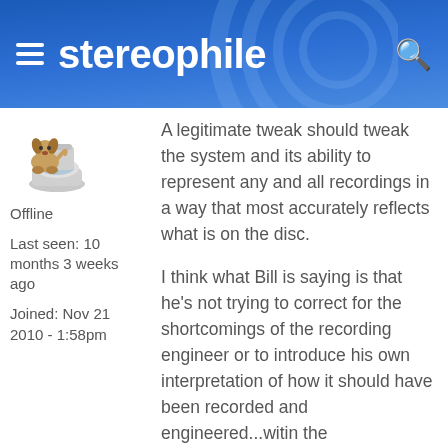stereophile
[Figure (illustration): Cartoon dog sitting on a toilet, 3D clip-art style]
Offline
Last seen: 10 months 3 weeks ago
Joined: Nov 21 2010 - 1:58pm
A legitimate tweak should tweak the system and its ability to represent any and all recordings in a way that most accurately reflects what is on the disc.
I think what Bill is saying is that he's not trying to correct for the shortcomings of the recording engineer or to introduce his own interpretation of how it should have been recorded and engineered...witin the